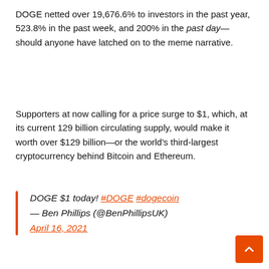DOGE netted over 19,676.6% to investors in the past year, 523.8% in the past week, and 200% in the past day—should anyone have latched on to the meme narrative.
Supporters at now calling for a price surge to $1, which, at its current 129 billion circulating supply, would make it worth over $129 billion—or the world's third-largest cryptocurrency behind Bitcoin and Ethereum.
DOGE $1 today! #DOGE #dogecoin — Ben Phillips (@BenPhillipsUK) April 16, 2021